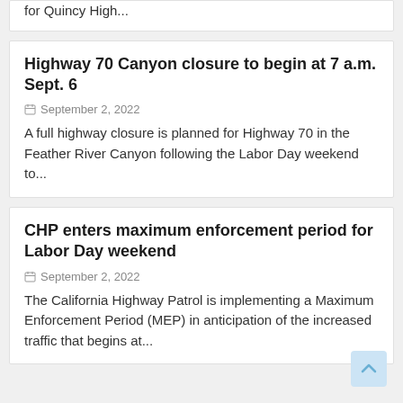for Quincy High...
Highway 70 Canyon closure to begin at 7 a.m. Sept. 6
September 2, 2022
A full highway closure is planned for Highway 70 in the Feather River Canyon following the Labor Day weekend to...
CHP enters maximum enforcement period for Labor Day weekend
September 2, 2022
The California Highway Patrol is implementing a Maximum Enforcement Period (MEP) in anticipation of the increased traffic that begins at...